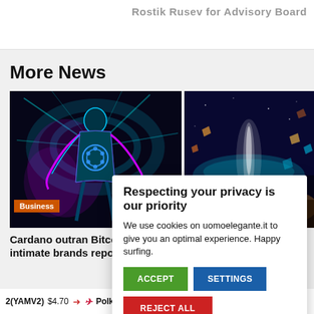Rostik Rusev for Advisory Board
More News
[Figure (illustration): Neon sci-fi humanoid figure with glowing teal and purple lights, Cardano-style circular logo on chest, dark cosmic background]
[Figure (illustration): Cosmic space scene with bright white light beam, teal waves, floating asteroids/crystals and orange/amber fragments, dark blue space background]
Business
Cardano outran Bitcoin in global intimate brands report
Respecting your privacy is our priority
We use cookies on uomoelegante.it to give you an optimal experience. Happy surfing.
ACCEPT
SETTINGS
REJECT ALL
2(YAMV2)  $4.70    PolkaBridge(PBR)  $0.439876    DSLA Proto